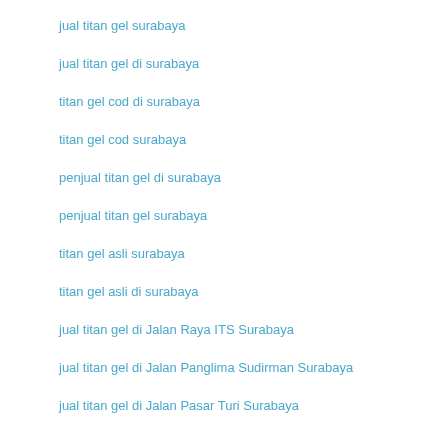jual titan gel surabaya
jual titan gel di surabaya
titan gel cod di surabaya
titan gel cod surabaya
penjual titan gel di surabaya
penjual titan gel surabaya
titan gel asli surabaya
titan gel asli di surabaya
jual titan gel di Jalan Raya ITS Surabaya
jual titan gel di Jalan Panglima Sudirman Surabaya
jual titan gel di Jalan Pasar Turi Surabaya